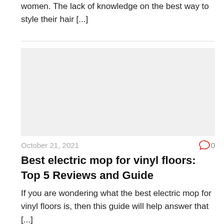women. The lack of knowledge on the best way to style their hair [...]
[Figure (photo): Placeholder image with light gray background]
October 21, 2021
0
Best electric mop for vinyl floors: Top 5 Reviews and Guide
If you are wondering what the best electric mop for vinyl floors is, then this guide will help answer that [...]